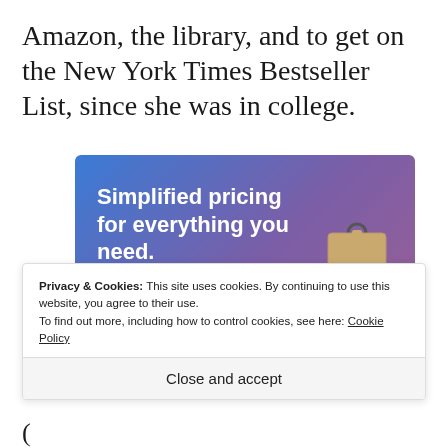Amazon, the library, and to get on the New York Times Bestseller List, since she was in college.
[Figure (infographic): Advertisement banner with blue-to-purple gradient background. Text reads 'Simplified pricing for everything you need.' with a pink 'Build Your Website' button and a tan price tag illustration on the right.]
Privacy & Cookies: This site uses cookies. By continuing to use this website, you agree to their use.
To find out more, including how to control cookies, see here: Cookie Policy
Close and accept
of CCBC for...